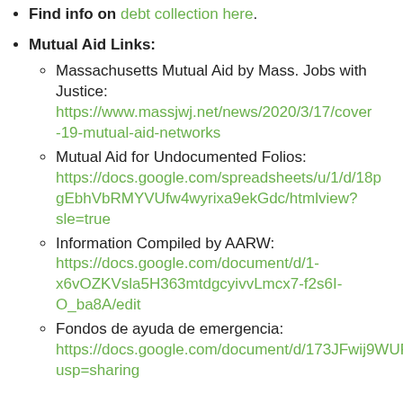Find info on debt collection here.
Mutual Aid Links:
Massachusetts Mutual Aid by Mass. Jobs with Justice: https://www.massjwj.net/news/2020/3/17/cover-19-mutual-aid-networks
Mutual Aid for Undocumented Folks: https://docs.google.com/spreadsheets/u/1/d/18pgEbhVbRMYVUfw4wyrixa9ekGdc/htmlview?sle=true
Information Compiled by AARW: https://docs.google.com/document/d/1-x6vOZKVsla5H363mtdgcyivvLmcx7-f2s6I-O_ba8A/edit
Fondos de ayuda de emergencia: https://docs.google.com/document/d/173JFwij9WUPuPh.../usp=sharing